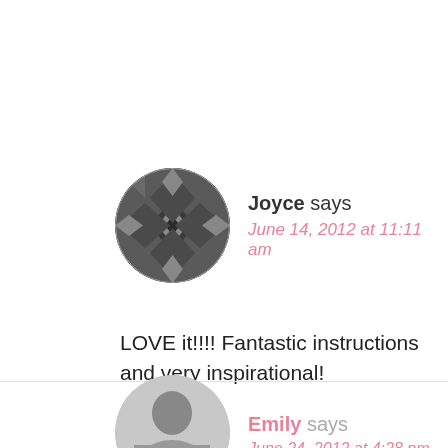[Figure (illustration): Circular avatar with geometric diamond/kaleidoscope pattern in dark grey for user Joyce]
Joyce says
June 14, 2012 at 11:11 am
LOVE it!!!! Fantastic instructions and very inspirational!
Reply
[Figure (photo): Circular avatar photo of Emily, partially visible at bottom of page]
Emily says
June 24, 2012 at 4:28 pm